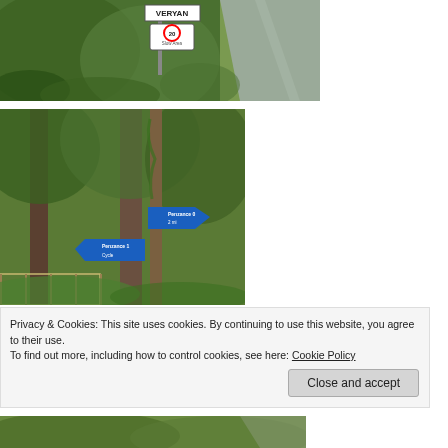[Figure (photo): Road scene with green hedgerow and a 'VERYAN' sign plus speed limit sign on the left roadside, road visible on the right.]
[Figure (photo): Wooded lane with a wooden post bearing two blue directional signs pointing in different directions, with dense green vegetation.]
Privacy & Cookies: This site uses cookies. By continuing to use this website, you agree to their use.
To find out more, including how to control cookies, see here: Cookie Policy
Close and accept
[Figure (photo): Partial view of another road scene with green hedgerow, partially cut off at the bottom of the page.]